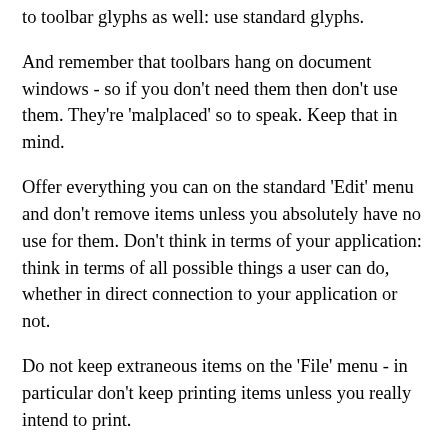to toolbar glyphs as well: use standard glyphs.
And remember that toolbars hang on document windows - so if you don't need them then don't use them. They're 'malplaced' so to speak. Keep that in mind.
Offer everything you can on the standard 'Edit' menu and don't remove items unless you absolutely have no use for them. Don't think in terms of your application: think in terms of all possible things a user can do, whether in direct connection to your application or not.
Do not keep extraneous items on the 'File' menu - in particular don't keep printing items unless you really intend to print.
And if your app can't open recent, then remove that item; if your app won't be saving files, then remove the corresponding items; and so forth.
And if you don't have 'help' then for heavens sake see you don't have a menu item for it.
If you have a single window application then make sure the user can't close this window without exiting the application. Flag the delegate methods to find out when the window is